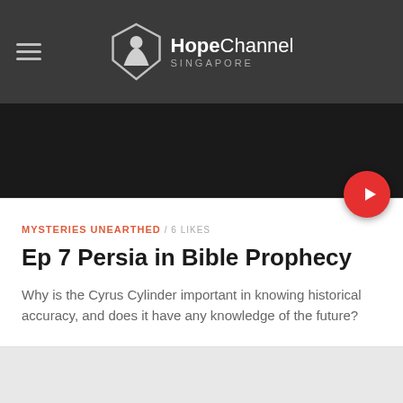Hope Channel SINGAPORE
[Figure (screenshot): Dark video thumbnail area with a red circular play button in the lower right corner]
MYSTERIES UNEARTHED / 6 LIKES
Ep 7 Persia in Bible Prophecy
Why is the Cyrus Cylinder important in knowing historical accuracy, and does it have any knowledge of the future?
[Figure (screenshot): Light gray content area with a teal/cyan circular chat button in the lower right corner]